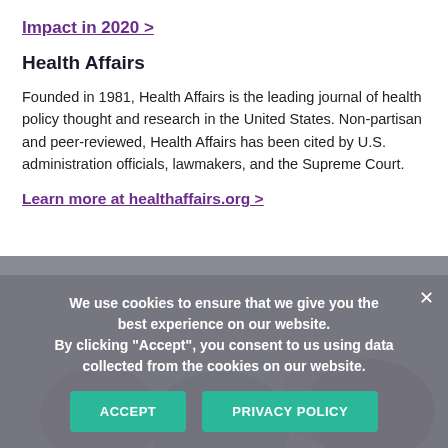Impact in 2020 >
Health Affairs
Founded in 1981, Health Affairs is the leading journal of health policy thought and research in the United States. Non-partisan and peer-reviewed, Health Affairs has been cited by U.S. administration officials, lawmakers, and the Supreme Court.
Learn more at healthaffairs.org >
We use cookies to ensure that we give you the best experience on our website. By clicking "Accept", you consent to us using data collected from the cookies on our website.
[Figure (photo): Background photo of people partially visible beneath cookie banner overlay]
ACCEPT
PRIVACY POLICY